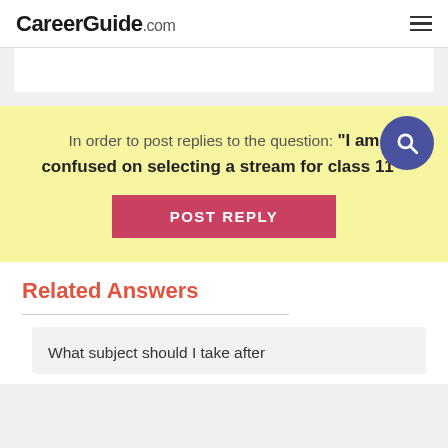CareerGuide.com
In order to post replies to the question: "I am confused on selecting a stream for class 11"
POST REPLY
Related Answers
What subject should I take after